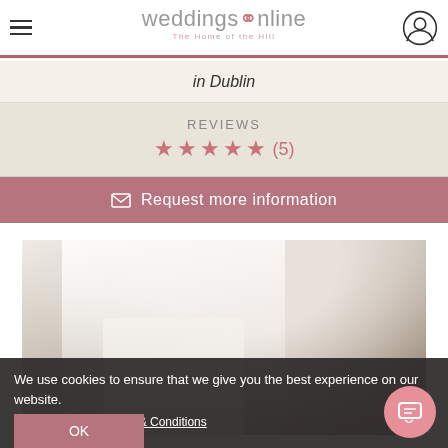weddingsonline
in Dublin
REVIEWS
★★★★★ (5)
Request more information
[Figure (photo): Bride in white wedding dress with veil, holding a bouquet of white flowers, smiling]
We use cookies to ensure that we give you the best experience on our website.
Privacy Policy   Terms & Conditions
OK